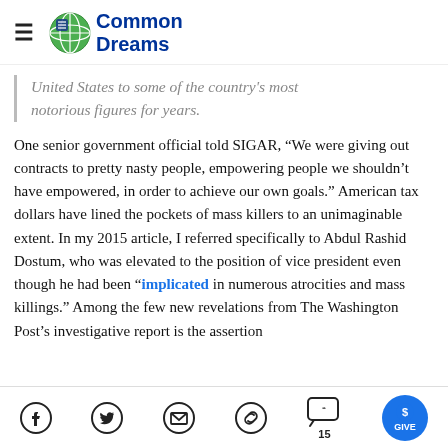Common Dreams
United States to some of the country's most notorious figures for years.
One senior government official told SIGAR, “We were giving out contracts to pretty nasty people, empowering people we shouldn’t have empowered, in order to achieve our own goals.” American tax dollars have lined the pockets of mass killers to an unimaginable extent. In my 2015 article, I referred specifically to Abdul Rashid Dostum, who was elevated to the position of vice president even though he had been “implicated in numerous atrocities and mass killings.” Among the few new revelations from The Washington Post’s investigative report is the assertion